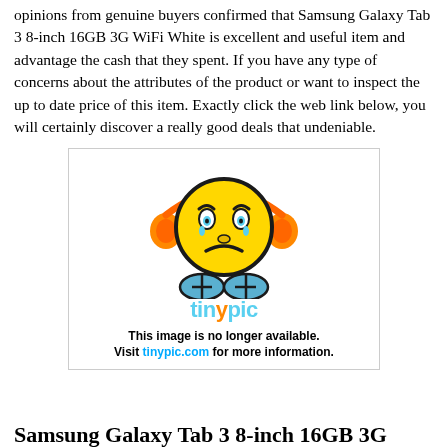opinions from genuine buyers confirmed that Samsung Galaxy Tab 3 8-inch 16GB 3G WiFi White is excellent and useful item and advantage the cash that they spent. If you have any type of concerns about the attributes of the product or want to inspect the up to date price of this item. Exactly click the web link below, you will certainly discover a really good deals that undeniable.
[Figure (illustration): Tinypic.com image unavailable placeholder: angry emoji cartoon face with headphones and blue body, with tinypic logo and text 'This image is no longer available. Visit tinypic.com for more information.']
Samsung Galaxy Tab 3 8-inch 16GB 3G